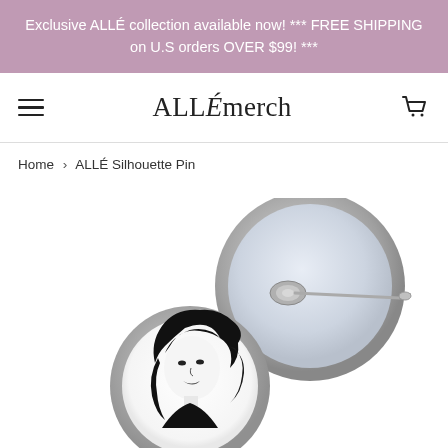Exclusive ALLÉ collection available now! *** FREE SHIPPING on U.S orders OVER $99! ***
ALLÉmerch
Home › ALLÉ Silhouette Pin
[Figure (photo): Two circular button pins — one showing the back side with a safety pin clasp, the other showing the front with a black silhouette illustration of a woman with flowing hair. The back pin is larger and positioned above/right, showing metallic silver rim and clasp. The front pin is smaller and positioned lower/left, showing the white face of the button with black hair illustration.]